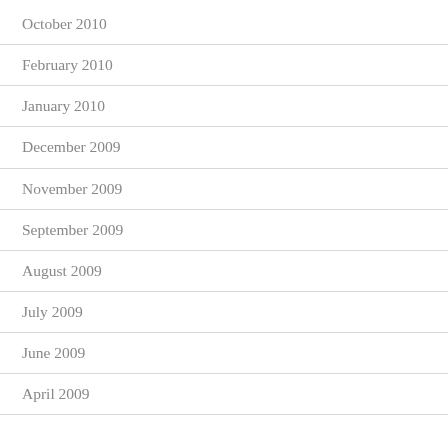October 2010
February 2010
January 2010
December 2009
November 2009
September 2009
August 2009
July 2009
June 2009
April 2009